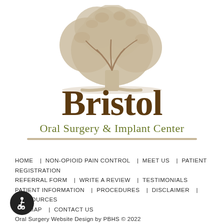[Figure (logo): Bristol Oral Surgery & Implant Center logo with a beige/tan tree illustration above the text 'Bristol' in large dark brown serif font and 'Oral Surgery & Implant Center' in olive green serif font below]
HOME  NON-OPIOID PAIN CONTROL  MEET US  PATIENT REGISTRATION  REFERRAL FORM  WRITE A REVIEW  TESTIMONIALS  PATIENT INFORMATION  PROCEDURES  DISCLAIMER  RESOURCES  SITEMAP  CONTACT US
Oral Surgery Website Design by PBHS © 2022